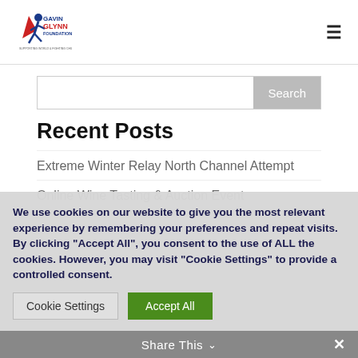Gavin Glynn Foundation logo and navigation menu
[Figure (logo): Gavin Glynn Foundation logo with superhero figure and red cape, text reads GAVIN GLYNN FOUNDATION]
Recent Posts
Extreme Winter Relay North Channel Attempt
Online Wine Tasting & Auction Event
We use cookies on our website to give you the most relevant experience by remembering your preferences and repeat visits. By clicking "Accept All", you consent to the use of ALL the cookies. However, you may visit "Cookie Settings" to provide a controlled consent.
Cookie Settings | Accept All
Share This